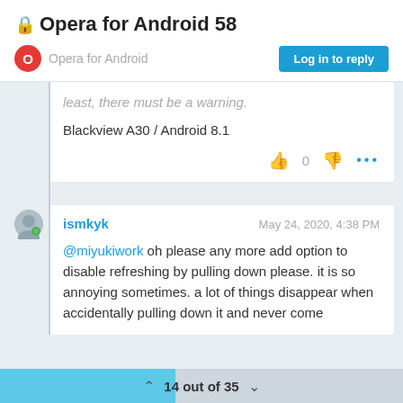Opera for Android 58
Opera for Android
least, there must be a warning.
Blackview A30 / Android 8.1
0
ismkyk   May 24, 2020, 4:38 PM
@miyukiwork oh please any more add option to disable refreshing by pulling down please. it is so annoying sometimes. a lot of things disappear when accidentally pulling down it and never come
14 out of 35